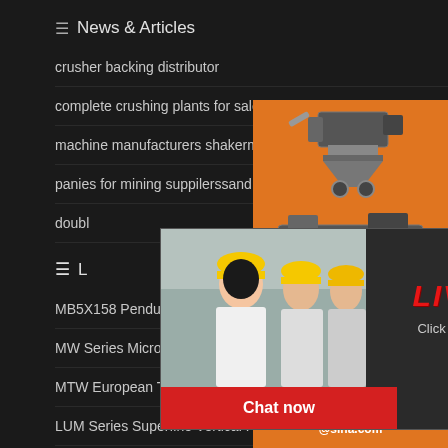News & Articles
crusher backing distributor
complete crushing plants for sale malaysia
machine manufacturers shakermachine
panies for mining suppilerssand and gravel cr
double
L
MB5X158 Pendulous Suspension
MW Series Micro Powder Mill
MTW European Trapezium Mill
LUM Series Superfine Vertical R
T130X Superfine Grinding Mill
TGM Super Pressure Trapezium Mi
[Figure (screenshot): Live chat popup overlay with workers in hard hats, LIVE CHAT text, 'Click for a Free Consultation', Chat now and Chat later buttons]
[Figure (illustration): Right sidebar orange panel with machinery images, Enjoy 3% discount, Click to Chat, Enquiry, and limingjlmofen@sina.com]